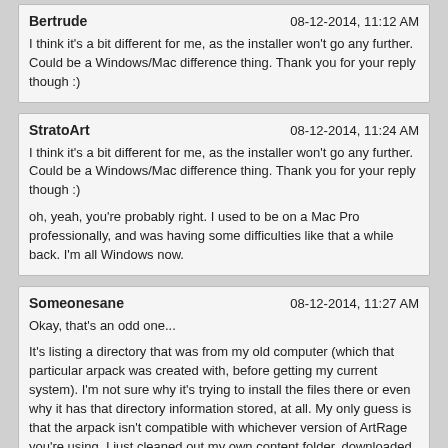Bertrude — 08-12-2014, 11:12 AM
I think it's a bit different for me, as the installer won't go any further. Could be a Windows/Mac difference thing. Thank you for your reply though :)
StratoArt — 08-12-2014, 11:24 AM
I think it's a bit different for me, as the installer won't go any further. Could be a Windows/Mac difference thing. Thank you for your reply though :)

oh, yeah, you're probably right. I used to be on a Mac Pro professionally, and was having some difficulties like that a while back. I'm all Windows now.
Someonesane — 08-12-2014, 11:27 AM
Okay, that's an odd one...

It's listing a directory that was from my old computer (which that particular arpack was created with, before getting my current system). I'm not sure why it's trying to install the files there or even why it has that directory information stored, at all. My only guess is that the arpack isn't compatible with whichever version of ArtRage you're using. I just cleaned out my own content folder, downloaded the pack, and installed it with no problems at all. Considering that this is a new computer, it sort of reinforces the idea that it's probably related to the version of the program. Bertrude, what version of ArtRage are you using? I may be able to recreate the arpack using a version of ArtRage that matches yours.

StratoArt, I'm guessing the issue you had with it being stored in a different location, was probably caused by having the two different versions of ArtRage on your computer. Some of the older versions of ArtRage kept user created content in different folders (app data folder vs Document folders, etc). But I can only make assumptions. We'll need to have the AR team chime in, to really know what's going on here, I think.